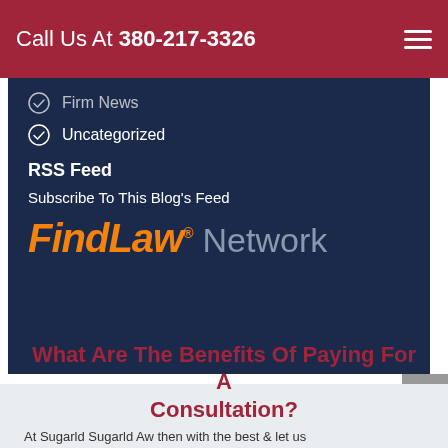Call Us At 380-217-3326
Firm News
Uncategorized
RSS Feed
Subscribe To This Blog's Feed
[Figure (logo): FindLaw Network logo with orange italic FindLaw text and gray Network text]
What Are The Benefits Of Paying For A Consultation?
At Sugarld Sugarld Aw then with the best & let us www.sugarld